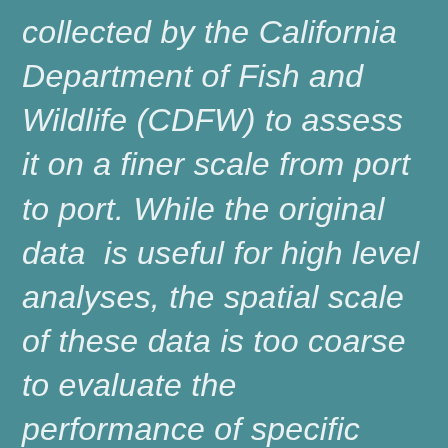collected by the California Department of Fish and Wildlife (CDFW) to assess it on a finer scale from port to port. While the original data  is useful for high level analyses, the spatial scale of these data is too coarse to evaluate the performance of specific MPAs. Most CDFW fisheries landings data are summarized to 10 x 10 nautical mile blocks, (100 square-nautical mile area) which is much larger than individual